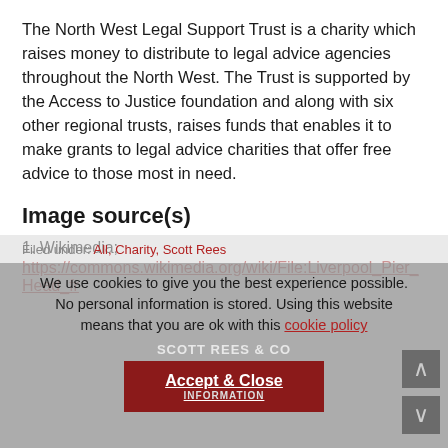The North West Legal Support Trust is a charity which raises money to distribute to legal advice agencies throughout the North West. The Trust is supported by the Access to Justice foundation and along with six other regional trusts, raises funds that enables it to make grants to legal advice charities that offer free advice to those most in need.
Image source(s)
1. Wikimedia;
https://commons.wikimedia.org/wiki/File:Liverpool_Pier_Head_fr
Filed under: All, Charity, Scott Rees
We use cookies to give you the best experience possible. No personal information is stored. Using this website means that you are ok with this cookie policy
SCOTT REES & CO
Accept & Close INFORMATION